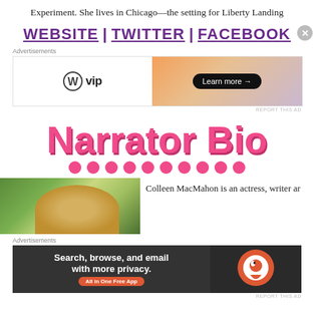Experiment. She lives in Chicago—the setting for Liberty Landing
WEBSITE | TWITTER | FACEBOOK
[Figure (other): WordPress VIP advertisement banner with gradient orange/purple background and 'Learn more' button]
[Figure (illustration): Narrator Bio stylized heading in pink bubble letters with pink dots row below]
[Figure (photo): Partial photo of narrator Colleen MacMahon with green foliage background]
Colleen MacMahon is an actress, writer ar
[Figure (other): DuckDuckGo advertisement banner: Search, browse, and email with more privacy. All in One Free App]